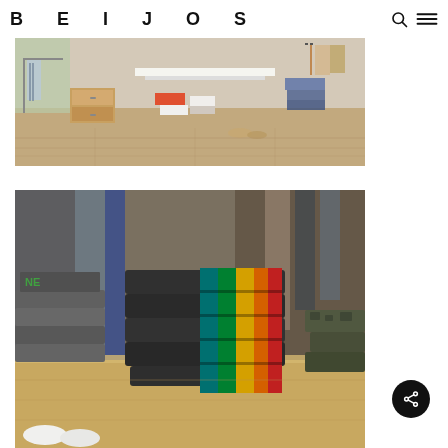BEIJOS
[Figure (photo): Interior of a clothing boutique store with folded garments, colorful items including red and white shirts on display tables, wooden floors, hanging clothes on racks, and accessories.]
[Figure (photo): Close-up of folded dark sweatshirts or hoodies with colorful rainbow stripes (yellow, red, green) stacked on a wooden surface, with blurred clothing racks in the background.]